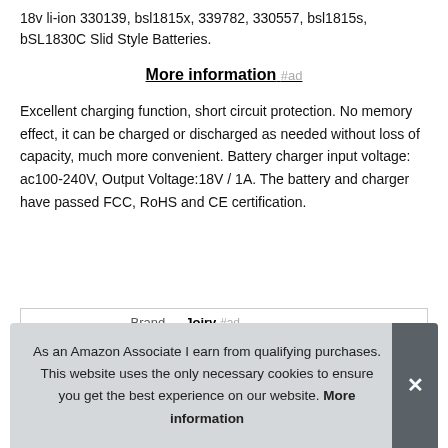18v li-ion 330139, bsl1815x, 339782, 330557, bsl1815s, bSL1830C Slid Style Batteries.
More information #ad
Excellent charging function, short circuit protection. No memory effect, it can be charged or discharged as needed without loss of capacity, much more convenient. Battery charger input voltage: ac100-240V, Output Voltage:18V / 1A. The battery and charger have passed FCC, RoHS and CE certification.
| Brand | Joiry #ad |
| Ma |  |
As an Amazon Associate I earn from qualifying purchases. This website uses the only necessary cookies to ensure you get the best experience on our website. More information